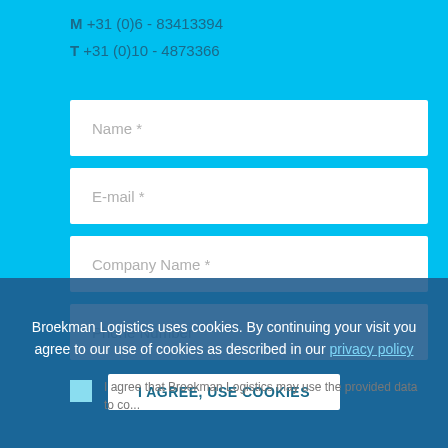M  +31 (0)6 - 83413394
T  +31 (0)10 - 4873366
Name *
E-mail *
Company Name *
Phone Number
Broekman Logistics uses cookies. By continuing your visit you agree to our use of cookies as described in our privacy policy
I AGREE, USE COOKIES
I agree that Broekman Logistics may use the provided data to co...